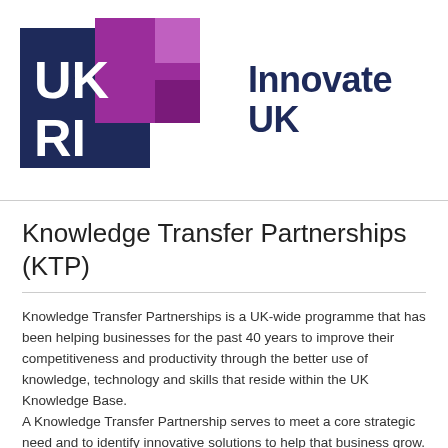[Figure (logo): UKRI and Innovate UK logo. Left part shows UKRI letters in white on dark navy background with purple geometric shapes. Right part shows 'Innovate UK' text in dark navy.]
Knowledge Transfer Partnerships (KTP)
Knowledge Transfer Partnerships is a UK-wide programme that has been helping businesses for the past 40 years to improve their competitiveness and productivity through the better use of knowledge, technology and skills that reside within the UK Knowledge Base.
A Knowledge Transfer Partnership serves to meet a core strategic need and to identify innovative solutions to help that business grow. KTP often delivers significant increased